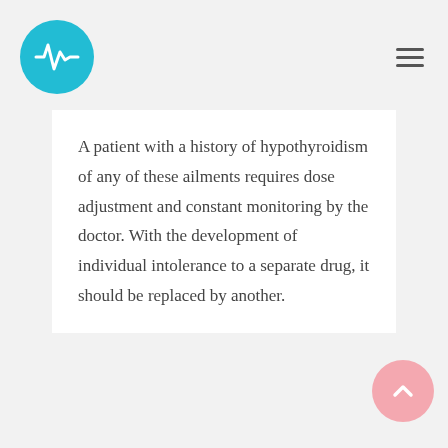[Figure (logo): Circular teal logo with a heartbeat/pulse line icon in white]
[Figure (other): Hamburger menu icon (three horizontal lines) in the top right corner]
A patient with a history of hypothyroidism of any of these ailments requires dose adjustment and constant monitoring by the doctor. With the development of individual intolerance to a separate drug, it should be replaced by another.
[Figure (other): Scroll-to-top button: pink circle with an upward chevron arrow]